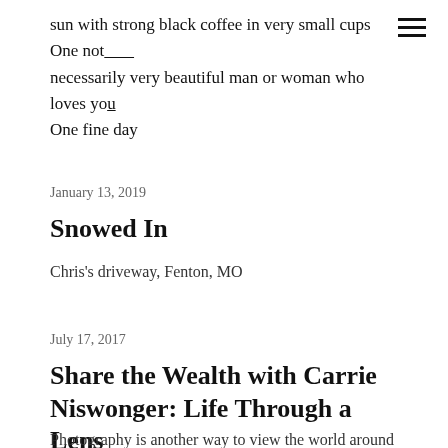sun with strong black coffee in very small cups One not necessarily very beautiful man or woman who loves you One fine day
January 13, 2019
Snowed In
Chris's driveway, Fenton, MO
July 17, 2017
Share the Wealth with Carrie Niswonger: Life Through a Lens
Photography is another way to view the world around